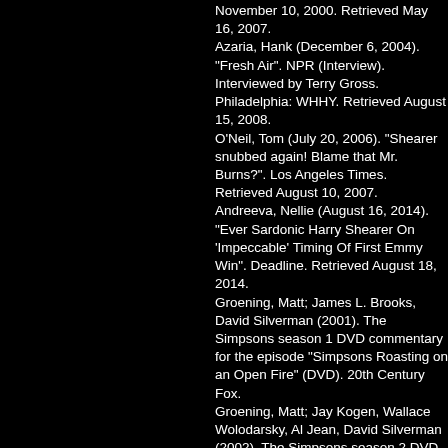November 10, 2000. Retrieved May 16, 2007.
Azaria, Hank (December 6, 2004). "Fresh Air". NPR (Interview). Interviewed by Terry Gross. Philadelphia: WHHY. Retrieved August 15, 2008.
O'Neil, Tom (July 20, 2006). "Shearer snubbed again! Blame that Mr. Burns?". Los Angeles Times. Retrieved August 10, 2007.
Andreeva, Nellie (August 16, 2014). "Ever Sardonic Harry Shearer On 'Impeccable' Timing Of First Emmy Win". Deadline. Retrieved August 18, 2014.
Groening, Matt; James L. Brooks, David Silverman (2001). The Simpsons season 1 DVD commentary for the episode "Simpsons Roasting on an Open Fire" (DVD). 20th Century Fox.
Groening, Matt; Jay Kogen, Wallace Wolodarsky, Al Jean, David Silverman (2002). The Simpsons season 2 DVD commentary for the episode "Old Money" (DVD). 20th Century Fox.
Doherty, Brian (March–April 1999). "Matt Groening". Mother Jones.
Glaister, Dan (April 3, 2004). "Simpsons actors demand bigger share". Melbourne: The Age. Retrieved February 9, 2008.
McGinnis, Rick (August 9, 2004). "Star